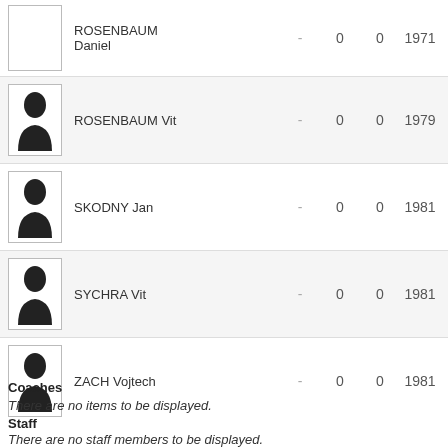| Photo | Name | - | 0 | 0 | Year |
| --- | --- | --- | --- | --- | --- |
| [photo] | ROSENBAUM Daniel | - | 0 | 0 | 1971 |
| [photo] | ROSENBAUM Vit | - | 0 | 0 | 1979 |
| [photo] | SKODNY Jan | - | 0 | 0 | 1981 |
| [photo] | SYCHRA Vit | - | 0 | 0 | 1981 |
| [photo] | ZACH Vojtech | - | 0 | 0 | 1981 |
Coaches
There are no items to be displayed.
Staff
There are no staff members to be displayed.